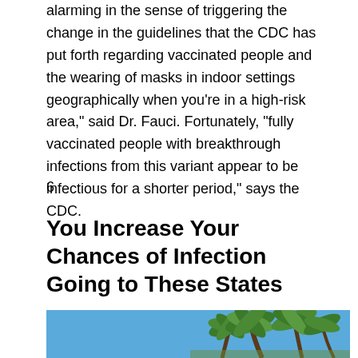alarming in the sense of triggering the change in the guidelines that the CDC has put forth regarding vaccinated people and the wearing of masks in indoor settings geographically when you're in a high-risk area," said Dr. Fauci. Fortunately, "fully vaccinated people with breakthrough infections from this variant appear to be infectious for a shorter period," says the CDC.
6
You Increase Your Chances of Infection Going to These States
[Figure (photo): Photo of palm trees against a blue sky, viewed from below at an angle.]